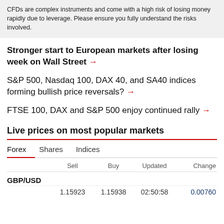CFDs are complex instruments and come with a high risk of losing money rapidly due to leverage. Please ensure you fully understand the risks involved.
Stronger start to European markets after losing week on Wall Street →
S&P 500, Nasdaq 100, DAX 40, and SA40 indices forming bullish price reversals? →
FTSE 100, DAX and S&P 500 enjoy continued rally →
Live prices on most popular markets
|  | Sell | Buy | Updated | Change |
| --- | --- | --- | --- | --- |
| GBP/USD |  |  |  |  |
|  | 1.15923 | 1.15938 | 02:50:58 | 0.00760 |